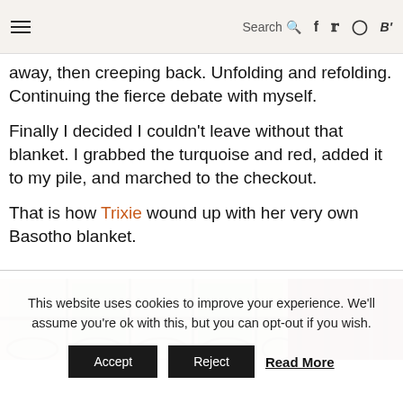Search [icon] [facebook] [twitter] [instagram] [bloglovin]
away, then creeping back. Unfolding and refolding. Continuing the fierce debate with myself.
Finally I decided I couldn't leave without that blanket. I grabbed the turquoise and red, added it to my pile, and marched to the checkout.
That is how Trixie wound up with her very own Basotho blanket.
[Figure (photo): Interior scene showing ornate metal window grilles with a garden visible through the glass, and dark red fabric curtains on the right side.]
This website uses cookies to improve your experience. We'll assume you're ok with this, but you can opt-out if you wish. Accept Reject Read More